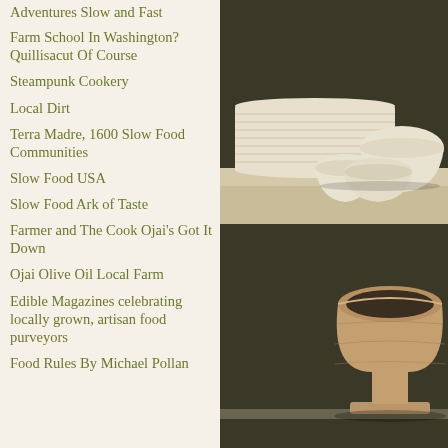Adventures Slow and Fast
Farm School In Washington? Quillisacut Of Course
Steampunk Cookery
Local Dirt
Terra Madre, 1600 Slow Food Communities
Slow Food USA
Slow Food Ark of Taste
Farmer and The Cook Ojai's Got It Down
Ojai Olive Oil Local Farm
Edible Magazines celebrating locally grown, artisan food purveyors
Food Rules By Michael Pollan
[Figure (photo): Stack of white ceramic plates and bowls on a light wooden shelf against a dark background, top section]
[Figure (photo): A rustic clay or terracotta pot on a shelf against a dark background, bottom section]